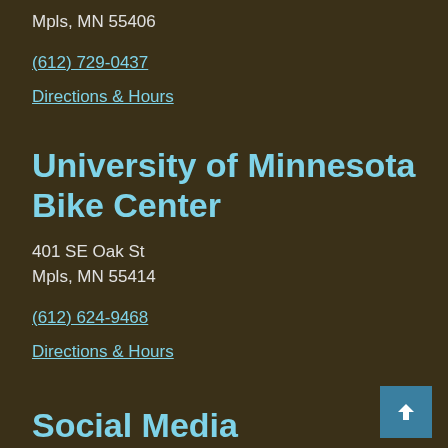Mpls, MN 55406
(612) 729-0437
Directions & Hours
University of Minnesota Bike Center
401 SE Oak St
Mpls, MN 55414
(612) 624-9468
Directions & Hours
Social Media
Keep up-to-date with our most recent activities, events